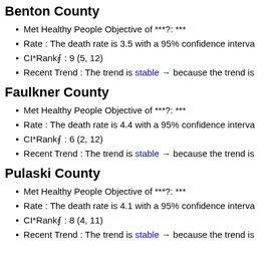Benton County
Met Healthy People Objective of ***?: ***
Rate : The death rate is 3.5 with a 95% confidence interva
CI*Rank⋒ : 9 (5, 12)
Recent Trend : The trend is stable → because the trend is
Faulkner County
Met Healthy People Objective of ***?: ***
Rate : The death rate is 4.4 with a 95% confidence interva
CI*Rank⋒ : 6 (2, 12)
Recent Trend : The trend is stable → because the trend is
Pulaski County
Met Healthy People Objective of ***?: ***
Rate : The death rate is 4.1 with a 95% confidence interva
CI*Rank⋒ : 8 (4, 11)
Recent Trend : The trend is stable → because the trend is